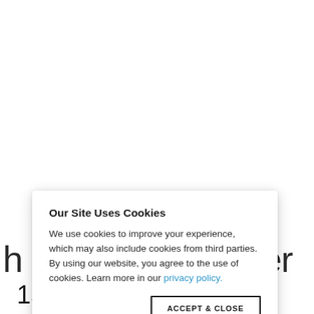…ptember 15, 2016
Our Site Uses Cookies
We use cookies to improve your experience, which may also include cookies from third parties. By using our website, you agree to the use of cookies. Learn more in our privacy policy.
ACCEPT & CLOSE